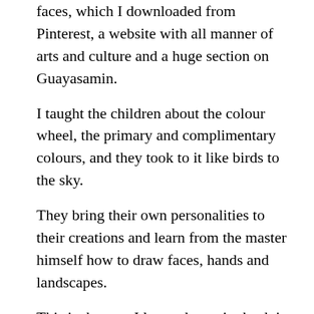faces, which I downloaded from Pinterest, a website with all manner of arts and culture and a huge section on Guayasamin.
I taught the children about the colour wheel, the primary and complimentary colours, and they took to it like birds to the sky.
They bring their own personalities to their creations and learn from the master himself how to draw faces, hands and landscapes.
This is the way I learned to paint back in 1973 when I was in NYC at the 92nd street Y. We would copy and change great artists, taking a Manet and applying Cubism to him or cutting out a photograph, blowing it up and dabbing it with the end of a pencil covered in paint, thereby learning pointillism. I learned colour mixing and composition from these exercises and expanded